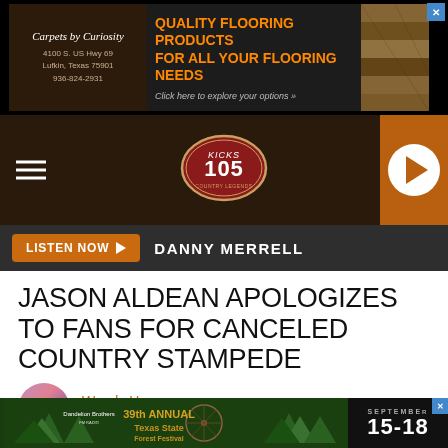[Figure (other): Advertisement banner for Carpets by Curiosity flooring store. Left: dark brown panel with 'Carpets by Curiosity 4100 S. US Hwy 69 Lufkin, Texas 75901 936-824-2931'. Center: dark panel with orange text 'QUALITY FLOORING PRODUCTS FOR ALL YOUR FLOORING NEEDS' and subtitle 'Click here to explore your options'. Right: photo of flooring.]
[Figure (logo): Kicks 105 radio station logo — oval badge with 'KICKS 105' text in red/maroon, on dark wood-grain navbar background with hamburger menu icon on left and orange play button panel on right.]
LISTEN NOW ▶  DANNY MERRELL
JASON ALDEAN APOLOGIZES TO FANS FOR CANCELED COUNTRY STAMPEDE APPEARANCE
Wendy Hermanson
Published: June 23, 2019
[Figure (other): Bottom advertisement banner: 39th Annual Texas State Forest Festival ad on left (green background with pine trees and Ferris wheel graphic), and 'SEPTEMBER 15-18' in bold white text on dark right panel.]